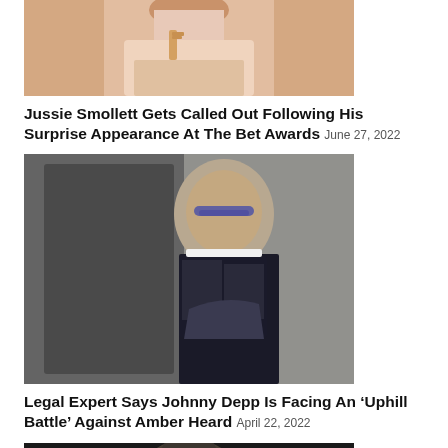[Figure (photo): Person wearing a light pink blazer with gold cross necklace, partial view cropped at top]
Jussie Smollett Gets Called Out Following His Surprise Appearance At The Bet Awards June 27, 2022
[Figure (photo): Man with slicked-back hair wearing sunglasses and dark suit with patterned tie, getting into or out of a vehicle]
Legal Expert Says Johnny Depp Is Facing An ‘Uphill Battle’ Against Amber Heard April 22, 2022
[Figure (photo): Partial view of person at event with Fab logo visible in background, dark setting]